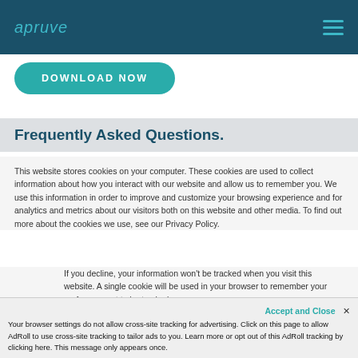apruve
DOWNLOAD NOW
Frequently Asked Questions.
This website stores cookies on your computer. These cookies are used to collect information about how you interact with our website and allow us to remember you. We use this information in order to improve and customize your browsing experience and for analytics and metrics about our visitors both on this website and other media. To find out more about the cookies we use, see our Privacy Policy.
If you decline, your information won't be tracked when you visit this website. A single cookie will be used in your browser to remember your preference not to be tracked.
Accept and Close ✕
Your browser settings do not allow cross-site tracking for advertising. Click on this page to allow AdRoll to use cross-site tracking to tailor ads to you. Learn more or opt out of this AdRoll tracking by clicking here. This message only appears once.